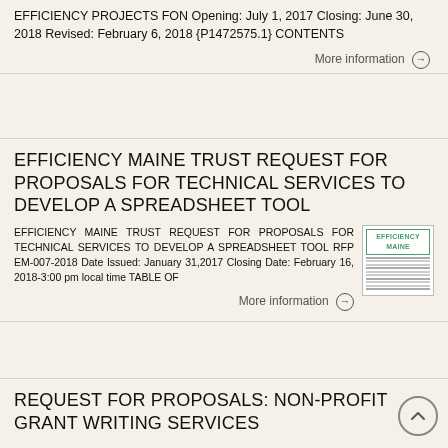EFFICIENCY PROJECTS FON Opening: July 1, 2017 Closing: June 30, 2018 Revised: February 6, 2018 {P1472575.1} CONTENTS
More information →
EFFICIENCY MAINE TRUST REQUEST FOR PROPOSALS FOR TECHNICAL SERVICES TO DEVELOP A SPREADSHEET TOOL
EFFICIENCY MAINE TRUST REQUEST FOR PROPOSALS FOR TECHNICAL SERVICES TO DEVELOP A SPREADSHEET TOOL RFP EM-007-2018 Date Issued: January 31,2017 Closing Date: February 16, 2018-3:00 pm local time TABLE OF
[Figure (other): Thumbnail image of Efficiency Maine document cover page with green logo at top]
More information →
REQUEST FOR PROPOSALS: NON-PROFIT GRANT WRITING SERVICES